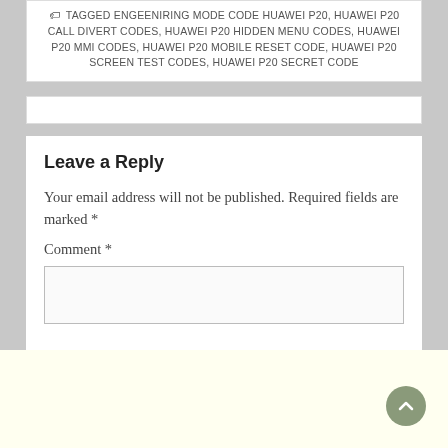TAGGED ENGEENIRING MODE CODE HUAWEI P20, HUAWEI P20 CALL DIVERT CODES, HUAWEI P20 HIDDEN MENU CODES, HUAWEI P20 MMI CODES, HUAWEI P20 MOBILE RESET CODE, HUAWEI P20 SCREEN TEST CODES, HUAWEI P20 SECRET CODE
Leave a Reply
Your email address will not be published. Required fields are marked *
Comment *